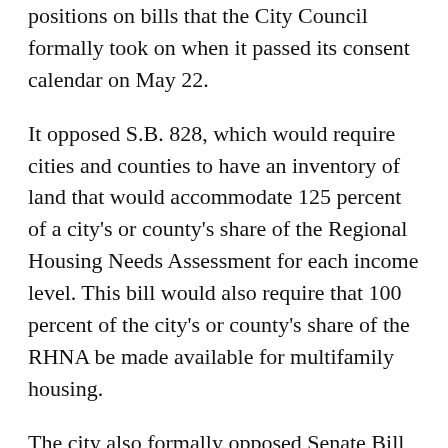positions on bills that the City Council formally took on when it passed its consent calendar on May 22.
It opposed S.B. 828, which would require cities and counties to have an inventory of land that would accommodate 125 percent of a city's or county's share of the Regional Housing Needs Assessment for each income level. This bill would also require that 100 percent of the city's or county's share of the RHNA be made available for multifamily housing.
The city also formally opposed Senate Bill 831, which would override their authority to determine land use for accessory dwelling units, a type of residential unit and S.B. 946, which would require the